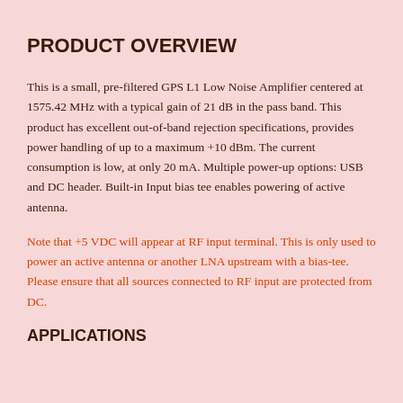PRODUCT OVERVIEW
This is a small, pre-filtered GPS L1 Low Noise Amplifier centered at 1575.42 MHz with a typical gain of 21 dB in the pass band. This product has excellent out-of-band rejection specifications, provides power handling of up to a maximum +10 dBm. The current consumption is low, at only 20 mA. Multiple power-up options: USB and DC header. Built-in Input bias tee enables powering of active antenna.
Note that +5 VDC will appear at RF input terminal. This is only used to power an active antenna or another LNA upstream with a bias-tee. Please ensure that all sources connected to RF input are protected from DC.
APPLICATIONS